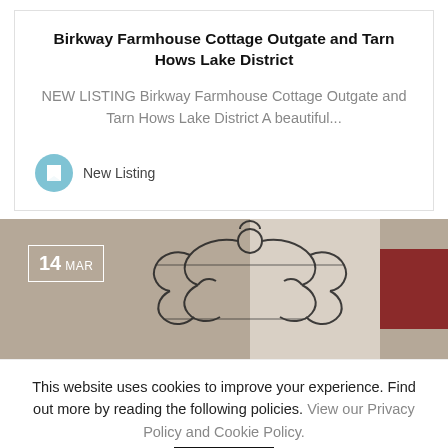Birkway Farmhouse Cottage Outgate and Tarn Hows Lake District
NEW LISTING Birkway Farmhouse Cottage Outgate and Tarn Hows Lake District A beautiful...
New Listing
[Figure (photo): Date badge showing 14 MAR overlaid on photo of decorative ironwork headboard against a wall with a red blind visible on the right]
This website uses cookies to improve your experience. Find out more by reading the following policies. View our Privacy Policy and Cookie Policy.